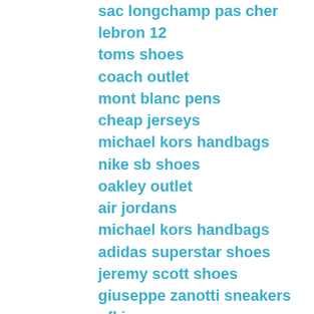sac longchamp pas cher
lebron 12
toms shoes
coach outlet
mont blanc pens
cheap jerseys
michael kors handbags
nike sb shoes
oakley outlet
air jordans
michael kors handbags
adidas superstar shoes
jeremy scott shoes
giuseppe zanotti sneakers
nfl jerseys
oakley sunglasses
coach outlet
michael kors outlet online
kate spade
michael kors outlet
louis vuitton handbags
cheap ugg boots
coach outlet